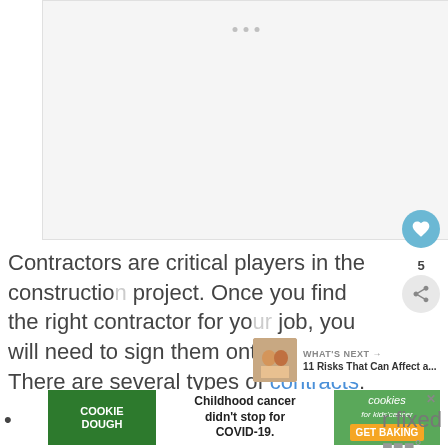[Figure (photo): Gray placeholder image area with three small dots near top center, representing a loading or blank image slot]
Contractors are critical players in the construction project. Once you find the right contractor for your job, you will need to sign them onto the [job]. There are several types of contracts:
[Figure (screenshot): WHAT'S NEXT panel showing thumbnail image of construction workers and text '11 Risks That Can Affect a...']
[Figure (screenshot): Advertisement banner: Cookie Dough / Childhood cancer didn't stop for COVID-19. / cookies for kids cancer GET BAKING]
fixed